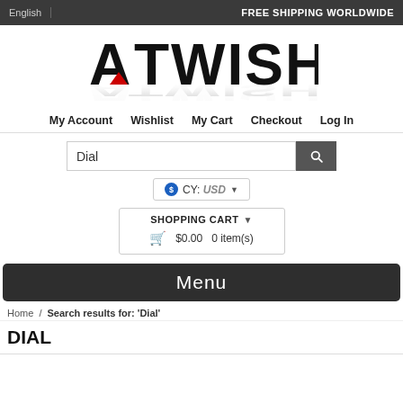English  FREE SHIPPING WORLDWIDE
[Figure (logo): ATWISH logo in bold black letters with a red arrow element and mirror reflection effect]
My Account  Wishlist  My Cart  Checkout  Log In
Dial [search box with search button]
CY: USD [currency selector]
SHOPPING CART  $0.00  0 item(s)
Menu
Home / Search results for: 'Dial'
DIAL